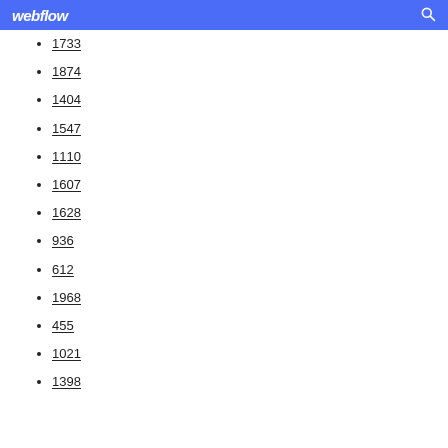webflow
1733
1874
1404
1547
1110
1607
1628
936
612
1968
455
1021
1398